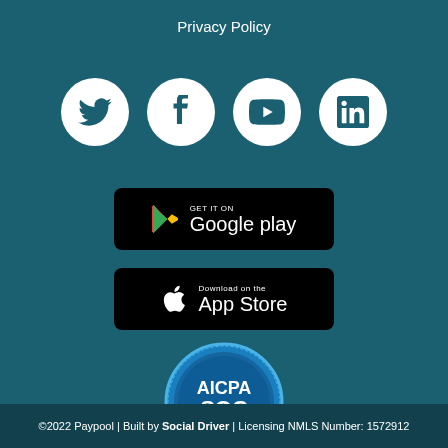Privacy Policy
[Figure (logo): Social media icons: Twitter, Facebook, YouTube, LinkedIn — white circles on teal background]
[Figure (logo): Google Play download badge — black rounded rectangle]
[Figure (logo): Apple App Store download badge — black rounded rectangle]
[Figure (logo): AICPA SOC certification badge — blue circular seal]
©2022 Paypool | Built by Social Driver | Licensing NMLS Number: 1572912